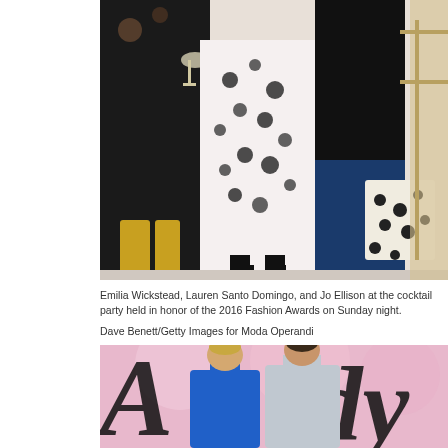[Figure (photo): Partial body shot of three women at a cocktail party, showing their outfits and shoes. One in black dress holding wine glass, one in black and white floral dress, one in dark blazer and blue trousers carrying a polka dot bag.]
Emilia Wickstead, Lauren Santo Domingo, and Jo Ellison at the cocktail party held in honor of the 2016 Fashion Awards on Sunday night.
Dave Benett/Getty Images for Moda Operandi
[Figure (photo): Two women posing in front of large sparkly black cursive letters on a pink background. Left woman wears a blue sleeveless dress, right woman wears a silver/grey gown with high neck. The letters appear to be part of 'Awards' signage.]